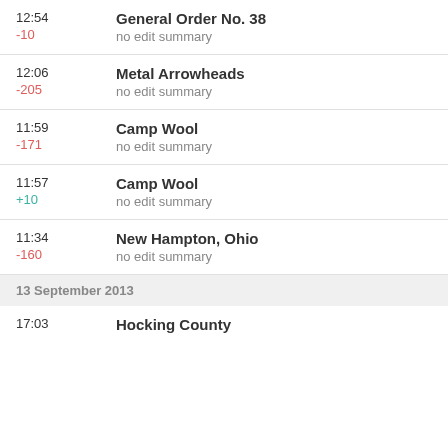12:54 | -10 | General Order No. 38 | no edit summary
12:06 | -205 | Metal Arrowheads | no edit summary
11:59 | -171 | Camp Wool | no edit summary
11:57 | +10 | Camp Wool | no edit summary
11:34 | -160 | New Hampton, Ohio | no edit summary
13 September 2013
17:03 | Hocking County